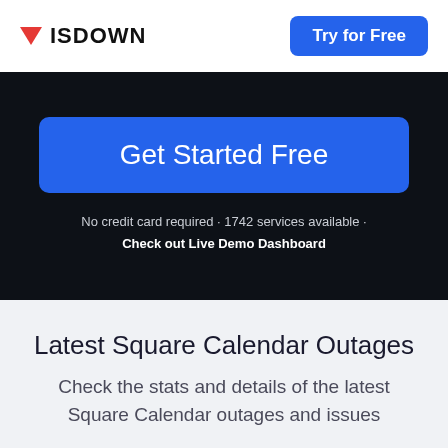ISDOWN | Try for Free
[Figure (infographic): Dark navy hero section with a large blue 'Get Started Free' call-to-action button and subtext reading 'No credit card required · 1742 services available · Check out Live Demo Dashboard']
Latest Square Calendar Outages
Check the stats and details of the latest Square Calendar outages and issues